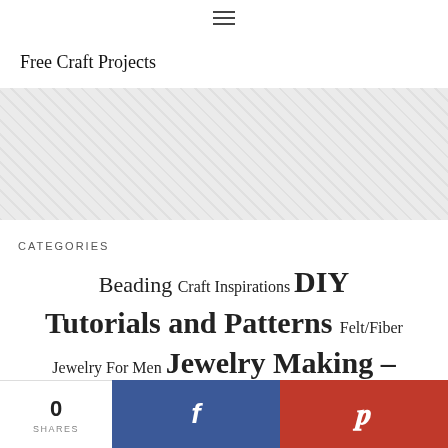≡
Free Craft Projects
[Figure (other): Gray textured banner/placeholder image area]
CATEGORIES
Beading Craft Inspirations DIY Tutorials and Patterns Felt/Fiber Jewelry For Men Jewelry Making –
0 SHARES  [Facebook share button]  [Pinterest share button]